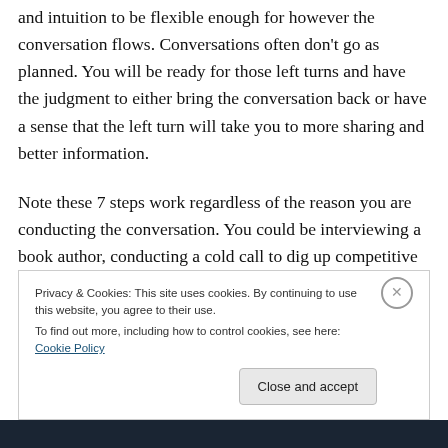and intuition to be flexible enough for however the conversation flows. Conversations often don't go as planned. You will be ready for those left turns and have the judgment to either bring the conversation back or have a sense that the left turn will take you to more sharing and better information.
Note these 7 steps work regardless of the reason you are conducting the conversation. You could be interviewing a book author, conducting a cold call to dig up competitive intelligence, conducting a win loss analysis
Privacy & Cookies: This site uses cookies. By continuing to use this website, you agree to their use.
To find out more, including how to control cookies, see here: Cookie Policy